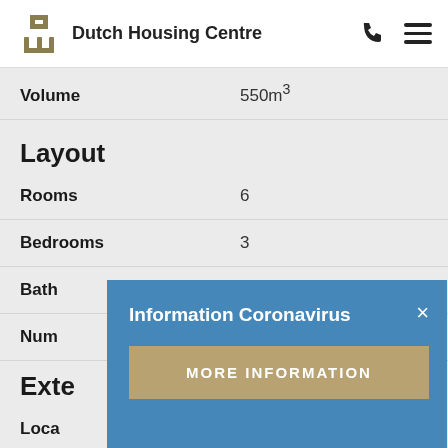[Figure (logo): Dutch Housing Centre logo with stylized DHC icon and text]
| Property | Value |
| --- | --- |
| Volume | 550m³ |
| Layout |  |
| Rooms | 6 |
| Bedrooms | 3 |
| Bathrooms |  |
| Number of floors |  |
| Exterior |  |
| Location |  |
Information Coronavirus
MORE INFORMATION